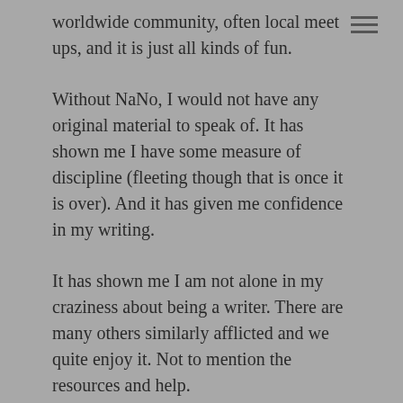worldwide community, often local meet ups, and it is just all kinds of fun.
Without NaNo, I would not have any original material to speak of. It has shown me I have some measure of discipline (fleeting though that is once it is over). And it has given me confidence in my writing.
It has shown me I am not alone in my craziness about being a writer. There are many others similarly afflicted and we quite enjoy it. Not to mention the resources and help.
I wish I had started earlier, but I am glad I did. My first NaNo, I signed up late on October 31st with no idea what I was going to write. Needless to say, I did not win. But the bug bit and I have been doing it ever since.